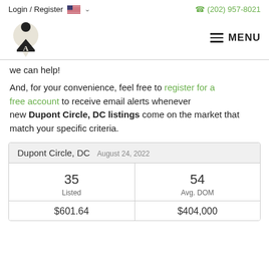Login / Register  🇺🇸 ∨    (202) 957-8021
[Figure (logo): Real estate website logo with map pin and letter A]
we can help!
And, for your convenience, feel free to register for a free account to receive email alerts whenever new Dupont Circle, DC listings come on the market that match your specific criteria.
|  |  |
| --- | --- |
| 35
Listed | 54
Avg. DOM |
| $601.64 | $404,000 |